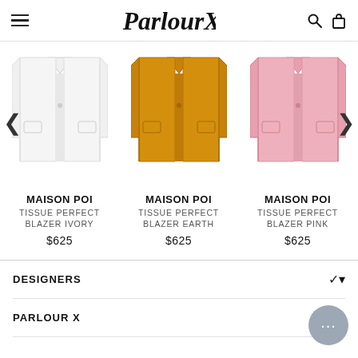ParlourX
[Figure (photo): Three blazers shown in a carousel: ivory/white blazer on left, mustard/earth-toned blazer in center, pink blazer on right. Navigation arrows on sides.]
MAISON POI
TISSUE PERFECT BLAZER IVORY
$625
MAISON POI
TISSUE PERFECT BLAZER EARTH
$625
MAISON POI
TISSUE PERFECT BLAZER PINK
$625
DESIGNERS
PARLOUR X